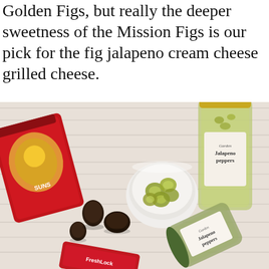Golden Figs, but really the deeper sweetness of the Mission Figs is our pick for the fig jalapeno cream cheese grilled cheese.
[Figure (photo): Overhead photo on a white wood surface showing: a red bag of dried Mission figs (Sun-Maid style), several dried dark Mission figs scattered on the surface, a small white bowl filled with sliced pickled jalapeno peppers, a tall glass jar of Garden brand jalapeno peppers, a second shorter glass jar of Garden brand jalapeno peppers laid on its side, and a red FreshLock package at the bottom.]